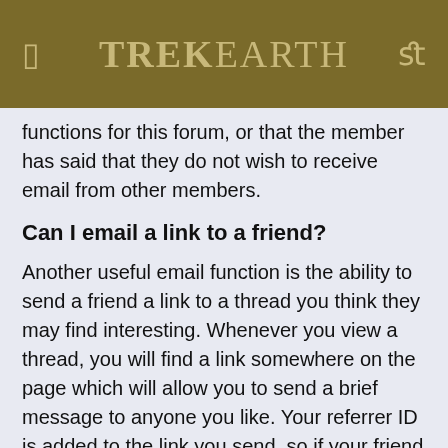TREKEARTH
functions for this forum, or that the member has said that they do not wish to receive email from other members.
Can I email a link to a friend?
Another useful email function is the ability to send a friend a link to a thread you think they may find interesting. Whenever you view a thread, you will find a link somewhere on the page which will allow you to send a brief message to anyone you like. Your referrer ID is added to the link you send, so if your friend registers on this forum as a result of viewing the link you sent to them, your referrals total will automatically be credited.
What is private messaging?
Registered members may also be able to send messages to other members of this forum using the private messaging system. For more information about private messaging, click here.